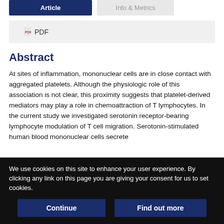Article | Info & Metrics
PDF
Abstract
At sites of inflammation, mononuclear cells are in close contact with aggregated platelets. Although the physiologic role of this association is not clear, this proximity suggests that platelet-derived mediators may play a role in chemoattraction of T lymphocytes. In the current study we investigated serotonin receptor-bearing lymphocyte modulation of T cell migration. Serotonin-stimulated human blood mononuclear cells secrete
We use cookies on this site to enhance your user experience. By clicking any link on this page you are giving your consent for us to set cookies.
Continue
Find out more